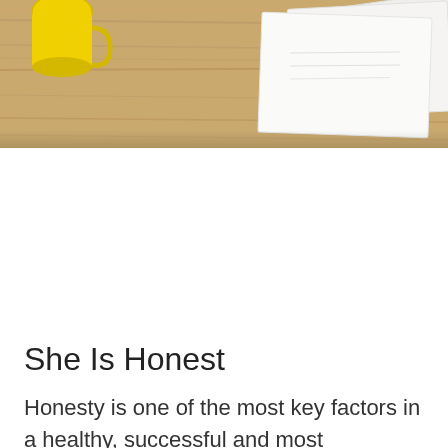[Figure (photo): A wooden desk surface with papers/documents and a yellow mug visible at the top of the frame, cropped at the bottom of a page.]
She Is Honest
Honesty is one of the most key factors in a healthy, successful and most importantly long